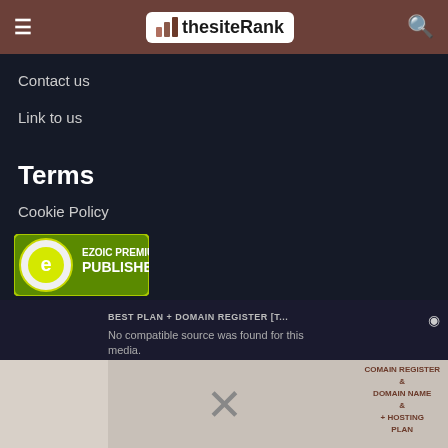thesiteRank
Contact us
Link to us
Terms
Cookie Policy
Privacy Policy
Terms of Service
[Figure (logo): Ezoic Premium Publisher badge - circular green badge with 'e' logo]
[Figure (screenshot): Video ad overlay with text: 'BEST PLAN + DOMAIN REGISTER [T...', 'No compatible source was found for this media.' and a close X button, with partially visible background image showing hosting plan advertisement]